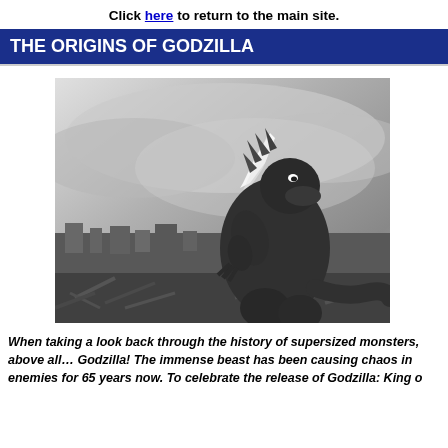Click here to return to the main site.
THE ORIGINS OF GODZILLA
[Figure (photo): Black and white photograph of Godzilla monster standing amid destruction of a city, firing atomic breath, with dramatic cloudy sky in background. Classic still from early Godzilla film.]
When taking a look back through the history of supersized monsters, above all… Godzilla! The immense beast has been causing chaos in enemies for 65 years now. To celebrate the release of Godzilla: King o